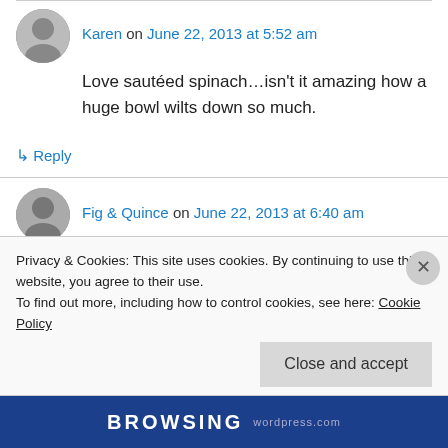Karen on June 22, 2013 at 5:52 am
Love sautéed spinach…isn't it amazing how a huge bowl wilts down so much.
↳ Reply
Fig & Quince on June 22, 2013 at 6:40 am
Exactly the kind of non-fussy healthy food I'd like
Privacy & Cookies: This site uses cookies. By continuing to use this website, you agree to their use.
To find out more, including how to control cookies, see here: Cookie Policy
Close and accept